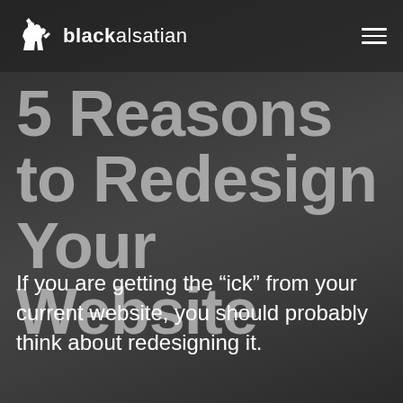blackalsatian
5 Reasons to Redesign Your Website
If you are getting the “ick” from your current website, you should probably think about redesigning it.